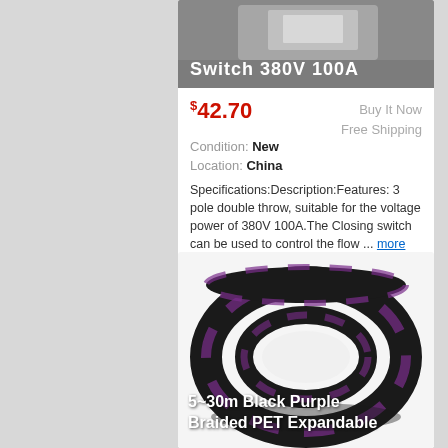Switch 380V 100A
$42.70
Buy It Now
Free Shipping
Condition: New
Location: China
Specifications:Description:Features: 3 pole double throw, suitable for the voltage power of 380V 100A.The Closing switch can be used to control the flow ... more
[Figure (photo): Coiled black and purple braided PET expandable cable sleeve]
5~30m Black Purple Braided PET Expandable